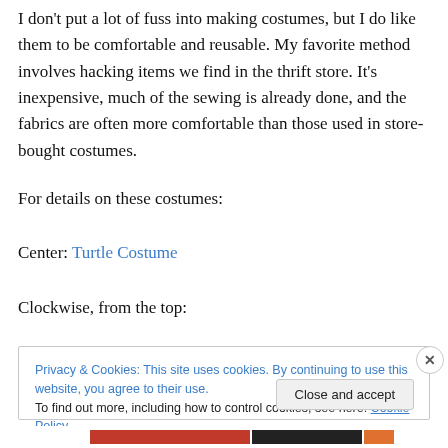I don't put a lot of fuss into making costumes, but I do like them to be comfortable and reusable. My favorite method involves hacking items we find in the thrift store. It's inexpensive, much of the sewing is already done, and the fabrics are often more comfortable than those used in store-bought costumes.
For details on these costumes:
Center: Turtle Costume
Clockwise, from the top:
Privacy & Cookies: This site uses cookies. By continuing to use this website, you agree to their use.
To find out more, including how to control cookies, see here: Cookie Policy